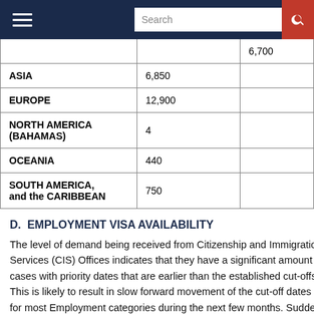Search
| Region | Value1 | Value2 |
| --- | --- | --- |
|  |  | 6,700 |
| ASIA | 6,850 |  |
| EUROPE | 12,900 |  |
| NORTH AMERICA (BAHAMAS) | 4 |  |
| OCEANIA | 440 |  |
| SOUTH AMERICA, and the CARIBBEAN | 750 |  |
D.  EMPLOYMENT VISA AVAILABILITY
The level of demand being received from Citizenship and Immigration Services (CIS) Offices indicates that they have a significant amount of cases with priority dates that are earlier than the established cut-offs. This is likely to result in slow forward movement of the cut-off dates for most Employment categories during the next few months. Sudden changes in the